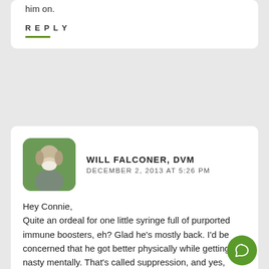him on.
REPLY
WILL FALCONER, DVM
DECEMBER 2, 2013 AT 5:26 PM
Hey Connie,
Quite an ordeal for one little syringe full of purported immune boosters, eh? Glad he's mostly back. I'd be concerned that he got better physically while getting nasty mentally. That's called suppression, and yes, homeopathy can suppress if one isn't careful in prescribing.
REPLY